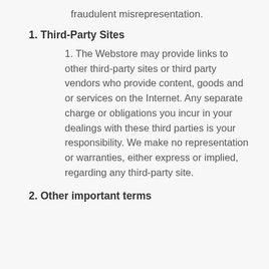fraudulent misrepresentation.
1. Third-Party Sites
1. The Webstore may provide links to other third-party sites or third party vendors who provide content, goods and or services on the Internet. Any separate charge or obligations you incur in your dealings with these third parties is your responsibility. We make no representation or warranties, either express or implied, regarding any third-party site.
2. Other important terms